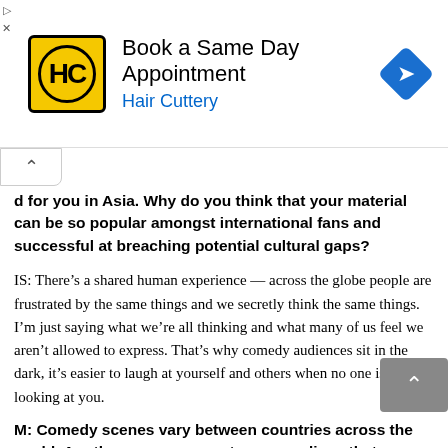[Figure (other): Hair Cuttery advertisement banner with logo, text 'Book a Same Day Appointment / Hair Cuttery', and a blue navigation arrow diamond icon]
…d for you in Asia. Why do you think that your material can be so popular amongst international fans and successful at breaching potential cultural gaps?
IS: There's a shared human experience — across the globe people are frustrated by the same things and we secretly think the same things. I'm just saying what we're all thinking and what many of us feel we aren't allowed to express. That's why comedy audiences sit in the dark, it's easier to laugh at yourself and others when no one is looking at you.
M: Comedy scenes vary between countries across the world. Are there any non-western comedians that you adm…
IS: I admire anyone who can get up in front of strangers and…